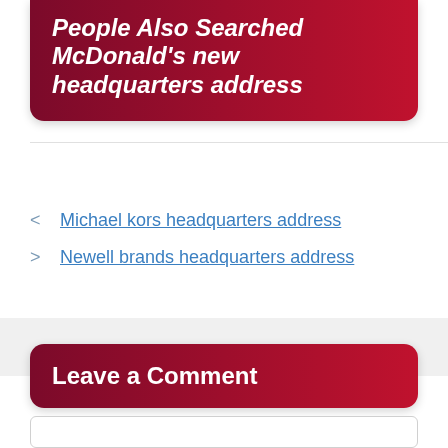People Also Searched McDonald's new headquarters address
Michael kors headquarters address
Newell brands headquarters address
Leave a Comment